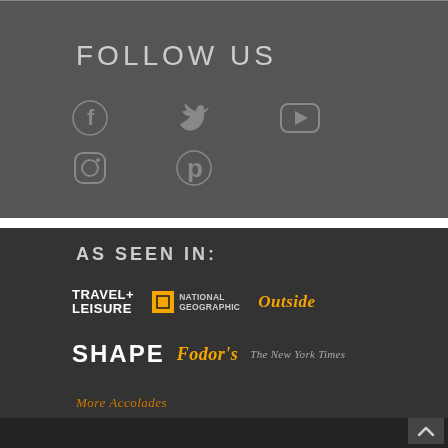FOLLOW US
[Figure (infographic): Social media icons: Facebook, Twitter, YouTube (top row), Instagram, Pinterest (bottom row) — shown as gray outline icons on dark gray background]
AS SEEN IN:
[Figure (infographic): Publication logos: Travel+Leisure, National Geographic, Outside (top row), SHAPE, Fodor's, The New York Times (bottom row) on dark background]
More Accolades